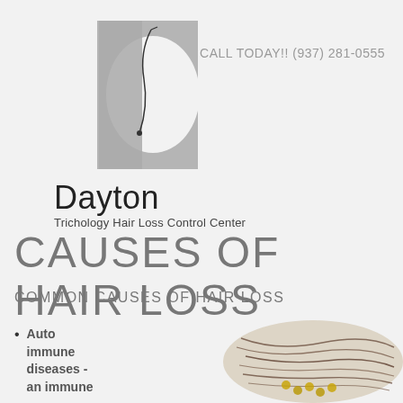[Figure (logo): Dayton Trichology Hair Loss Control Center logo with a large grey D letter and a hair strand graphic]
CALL TODAY!! (937) 281-0555
CAUSES OF HAIR LOSS
COMMON CAUSES OF HAIR LOSS
Auto immune diseases - an immune
[Figure (photo): Close-up photo of a bundle of dark hair strands gathered together with small decorative beads]